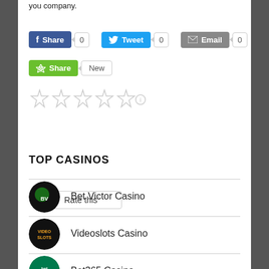you company.
[Figure (screenshot): Social share buttons: Facebook Share (count 0), Twitter Tweet (count 0), Email (count 0), and a green Share button with 'New' label]
[Figure (other): Five empty star rating icons followed by an info icon, with a 'Rate this' button below]
TOP CASINOS
[Figure (other): Bet Victor Casino logo - dark sphere with green design]
Bet Victor Casino
[Figure (other): Videoslots Casino logo - dark sphere with yellow text]
Videoslots Casino
[Figure (other): Bet365 Casino logo - green circle with bet365 text]
Bet365 Casino